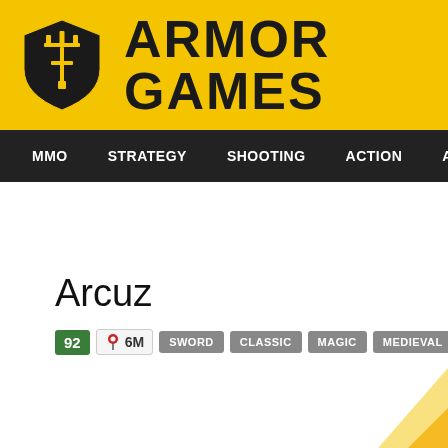ARMOR GAMES
MMO  STRATEGY  SHOOTING  ACTION  ADVENTURE  P
Arcuz
92  6M  SWORD  CLASSIC  MAGIC  MEDIEVAL  DRAGON